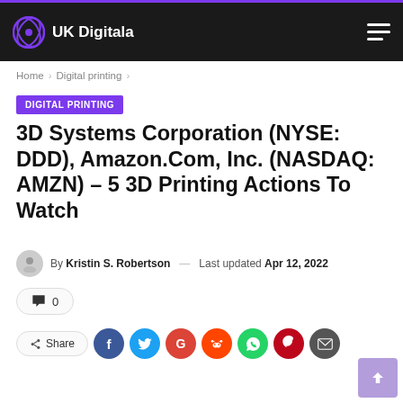UK Digitala
Home > Digital printing >
DIGITAL PRINTING
3D Systems Corporation (NYSE: DDD), Amazon.Com, Inc. (NASDAQ: AMZN) – 5 3D Printing Actions To Watch
By Kristin S. Robertson — Last updated Apr 12, 2022
0
Share